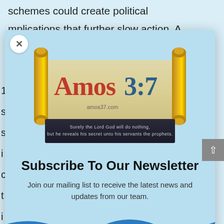schemes could create political
mplications that further slow action. A
[Figure (logo): Amos 3:7 website logo featuring a Torah scroll graphic with the text 'Amos3:7' and the website URL 'amos37.com', with a dark banner below reading: 'Surely the Lord God will do nothing, but he reveals his secret unto his servants the prophets.']
Subscribe To Our Newsletter
Join our mailing list to receive the latest news and updates from our team.